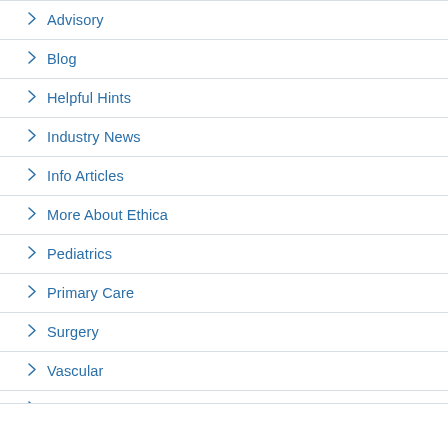Advisory
Blog
Helpful Hints
Industry News
Info Articles
More About Ethica
Pediatrics
Primary Care
Surgery
Vascular
(partial item at bottom)